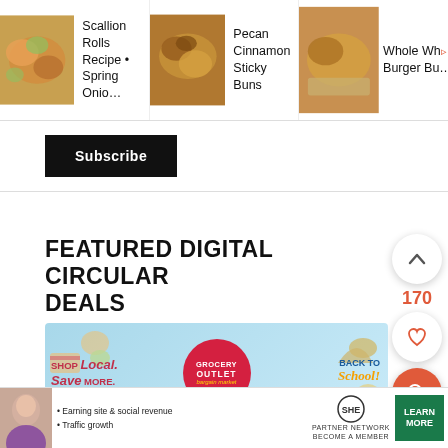[Figure (screenshot): Top navigation strip with three recipe cards: 'Scallion Rolls Recipe • Spring Onio...', 'Pecan Cinnamon Sticky Buns', and 'Whole Wh... Burger Bu...' with food thumbnail images]
Subscribe
[Figure (infographic): Grocery Outlet Bargain Market advertisement banner with 'SHOP Local. Save MORE.' text on left, red circular logo in center, and 'BACK TO School!' text on right, on a light blue background]
FEATURED DIGITAL CIRCULAR DEALS
[Figure (screenshot): SHE Partner Network advertisement with bullet points: 'Earning site & social revenue', 'Traffic growth', logo, and 'LEARN MORE' button]